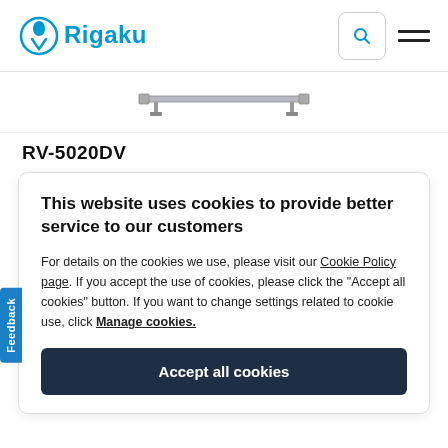Rigaku
[Figure (illustration): Partial view of a Rigaku product (RV-5020DV) — horizontal rail/bar component shown from above against white background]
RV-5020DV
This website uses cookies to provide better service to our customers
For details on the cookies we use, please visit our Cookie Policy page. If you accept the use of cookies, please click the "Accept all cookies" button. If you want to change settings related to cookie use, click Manage cookies.
Accept all cookies
Feedback